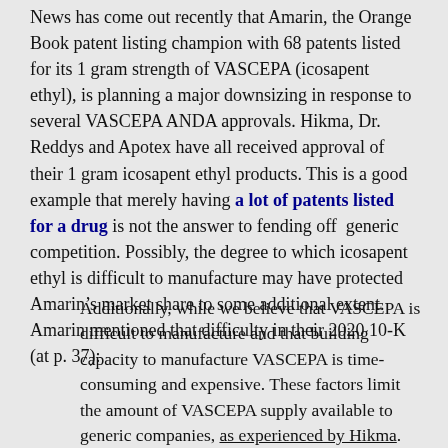News has come out recently that Amarin, the Orange Book patent listing champion with 68 patents listed for its 1 gram strength of VASCEPA (icosapent ethyl), is planning a major downsizing in response to several VASCEPA ANDA approvals. Hikma, Dr. Reddys and Apotex have all received approval of their 1 gram icosapent ethyl products. This is a good example that merely having a lot of patents listed for a drug is not the answer to fending off generic competition. Possibly, the degree to which icosapent ethyl is difficult to manufacture may have protected Amarin’s market share to some additional extent. Amarin mentioned that difficulty in their 2020 10-K (at p. 37):
Additionally, while we believe that VASCEPA is difficult to manufacture and that building capacity to manufacture VASCEPA is time-consuming and expensive. These factors limit the amount of VASCEPA supply available to generic companies, as experienced by Hikma. (emphasis added).